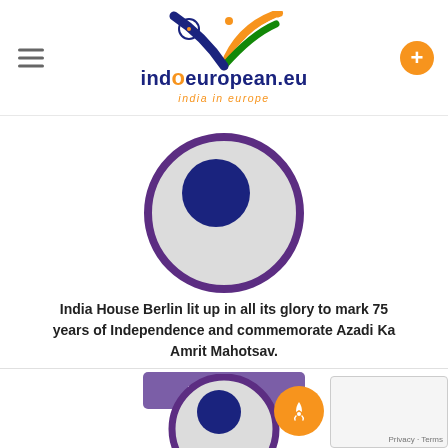indoeuropean.eu - india in europe
[Figure (illustration): Circular avatar placeholder with dark purple ring, light gray fill, and dark navy blue circle in upper portion]
India House Berlin lit up in all its glory to mark 75 years of Independence and commemorate Azadi Ka Amrit Mahotsav.
Read More
[Figure (illustration): Partial circular avatar placeholder with dark purple ring, light gray fill, and dark navy blue circle — bottom of page, partially cut off]